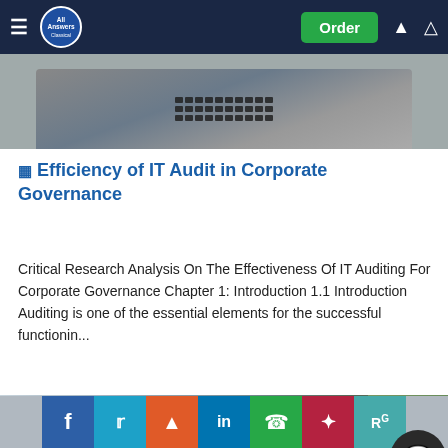All Answers Classical — Order
[Figure (photo): Person working at a laptop keyboard, partially visible from above]
Efficiency of IT Audit in Corporate Governance
Critical Research Analysis On The Effectiveness Of IT Auditing For Corporate Governance Chapter 1: Introduction 1.1 Introduction Auditing is one of the essential elements for the successful functionin...
[Figure (photo): Business people in suits sitting around a table using tablets and discussing documents]
Share buttons: Facebook, Twitter, Reddit, LinkedIn, WhatsApp, Mendeley, ResearchGate